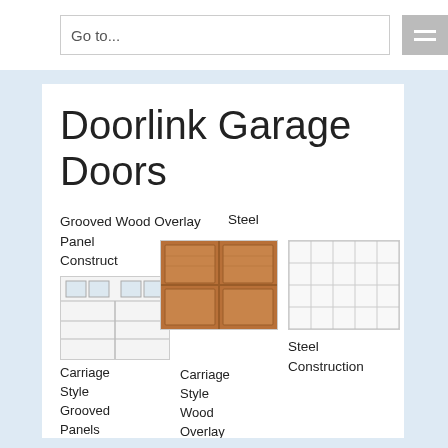Go to...
Doorlink Garage Doors
Grooved Wood Overlay Panel Construction
[Figure (photo): Thumbnail of Grooved Wood Overlay Panel Construction garage door - wooden brown door]
[Figure (photo): Thumbnail of Steel Construction garage door - white paneled steel door]
Steel Construction
[Figure (photo): Thumbnail of Carriage Style Grooved Panels garage door - white door with windows]
Carriage Style Grooved Panels
Carriage Style Wood Overlay